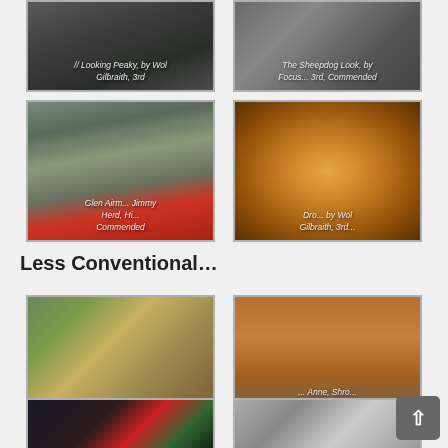[Figure (photo): Photo: Looking Peaky, by Wol Gilbraith, 3rd]
[Figure (photo): Photo: The Sheepdog Look, by Focus... 3rd, Commended]
[Figure (photo): Photo: Glen Airm... Jimmy Herd, Hi... Commended]
[Figure (photo): Photo: Dro... by Wol Gilbraith, 3rd]
Less Conventional…
[Figure (photo): Photo: Rice terraces landscape, Highly Commended]
[Figure (photo): Photo: Vicky McOstrich, Highly Commended]
[Figure (photo): Photo: dark abstract image (bottom left)]
[Figure (photo): Photo: abstract lines (bottom right)]